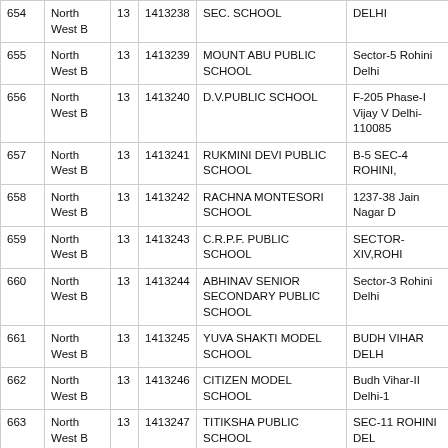| S.No. | District | Ward | Code | School Name | Address |
| --- | --- | --- | --- | --- | --- |
| 654 (partial) | North West B | 13 | 1413238 (partial) | SEC. SCHOOL | DELHI |
| 655 | North West B | 13 | 1413239 | MOUNT ABU PUBLIC SCHOOL | Sector-5 Rohini Delhi |
| 656 | North West B | 13 | 1413240 | D.V.PUBLIC SCHOOL | F-205 Phase-I Vijay V Delhi-110085 |
| 657 | North West B | 13 | 1413241 | RUKMINI DEVI PUBLIC SCHOOL | B-5 SEC-4 ROHINI, |
| 658 | North West B | 13 | 1413242 | RACHNA MONTESORI SCHOOL | 1237-38 Jain Nagar D |
| 659 | North West B | 13 | 1413243 | C.R.P.F. PUBLIC SCHOOL | SECTOR-XIV,ROHI |
| 660 | North West B | 13 | 1413244 | ABHINAV SENIOR SECONDARY PUBLIC SCHOOL | Sector-3 Rohini Delhi |
| 661 | North West B | 13 | 1413245 | YUVA SHAKTI MODEL SCHOOL | BUDH VIHAR DELH |
| 662 | North West B | 13 | 1413246 | CITIZEN MODEL SCHOOL | Budh Vihar-II Delhi-1 |
| 663 | North West B | 13 | 1413247 | TITIKSHA PUBLIC SCHOOL | SEC-11 ROHINI DEL |
| 664 | North West B | 13 | 1413248 | YUVASHAKTI MODEL SCHOOL | Sector-3 Rohini Delhi |
| 665 | North West B | 13 | 1413249 | ROHINI PUBLIC SCHOOL | VILLAGE AND POS NEHAR PUR ROHIN DELHI |
| 666 | North West B | 13 | 1413250 | B.V.M. MODEL SCHOOL | Rajiv Nagar, Begumpe 110041 |
| 667 | North West B | 13 | 1413251 | DEEN BANDHU PUBLIC SCHOOL | GHEVRA, NEW DEL |
| 668 (partial) | North |  |  |  | SECTOR-15, ROHIN |